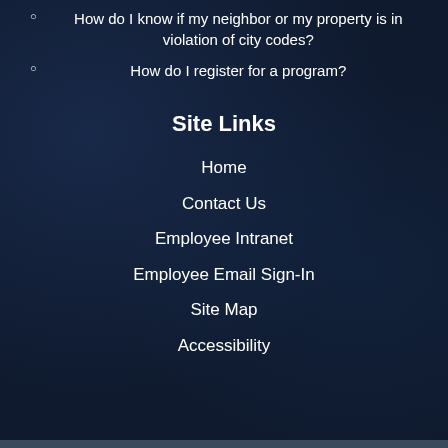How do I know if my neighbor or my property is in violation of city codes?
How do I register for a program?
Site Links
Home
Contact Us
Employee Intranet
Employee Email Sign-In
Site Map
Accessibility